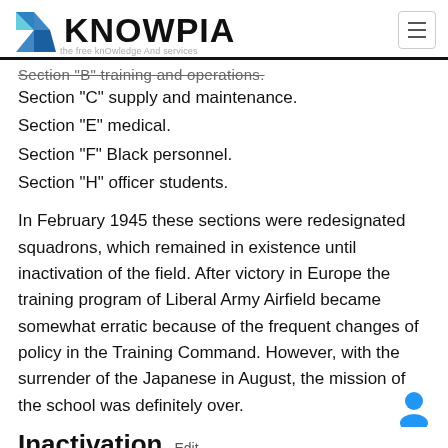KNOWPIA
Section "B" training and operations.
Section "C" supply and maintenance.
Section "E" medical.
Section "F" Black personnel.
Section "H" officer students.
In February 1945 these sections were redesignated squadrons, which remained in existence until inactivation of the field. After victory in Europe the training program of Liberal Army Airfield became somewhat erratic because of the frequent changes of policy in the Training Command. However, with the surrender of the Japanese in August, the mission of the school was definitely over.
Inactivation Edit